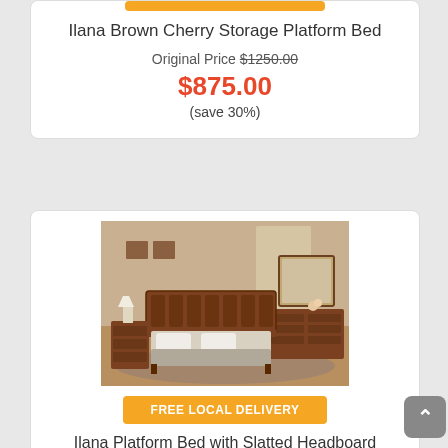Ilana Brown Cherry Storage Platform Bed
Original Price $1250.00
$875.00
(save 30%)
[Figure (photo): Bedroom furniture set showing a dark cherry wood platform bed with slatted headboard, matching nightstand, chest, dresser with mirror, on a beige rug in a room with warm lighting.]
FREE LOCAL DELIVERY
Ilana Platform Bed with Slatted Headboard